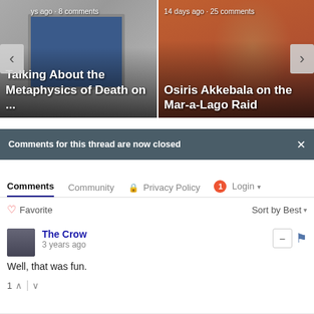[Figure (screenshot): Carousel with two cards. Left card: partially visible title 'Talking About the Metaphysics of Death on ...' with meta 'ys ago · 8 comments', background shows a monitor. Right card: title 'Osiris Akkebala on the Mar-a-Lago Raid' with meta '14 days ago · 25 comments', background shows a person's face. Navigation arrows on left and right.]
ys ago · 8 comments
Talking About the Metaphysics of Death on ...
14 days ago · 25 comments
Osiris Akkebala on the Mar-a-Lago Raid
Comments for this thread are now closed
Comments  Community  🔒 Privacy Policy  1  Login ▾
♡ Favorite
Sort by Best ▾
The Crow
3 years ago
Well, that was fun.
1 ∧ | ∨